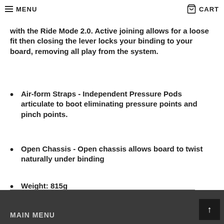MENU  CART
with the Ride Mode 2.0. Active joining allows for a loose fit then closing the lever locks your binding to your board, removing all play from the system.
Air-form Straps - Independent Pressure Pods articulate to boot eliminating pressure points and pinch points.
Open Chassis - Open chassis allows board to twist naturally under binding
Weight: 815g
Share:
MAIN MENU